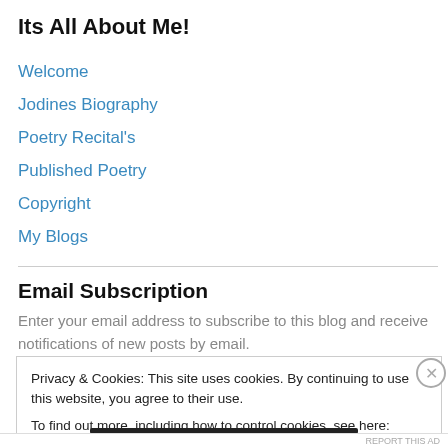Its All About Me!
Welcome
Jodines Biography
Poetry Recital's
Published Poetry
Copyright
My Blogs
Email Subscription
Enter your email address to subscribe to this blog and receive notifications of new posts by email.
Privacy & Cookies: This site uses cookies. By continuing to use this website, you agree to their use.
To find out more, including how to control cookies, see here: Cookie Policy
Close and accept